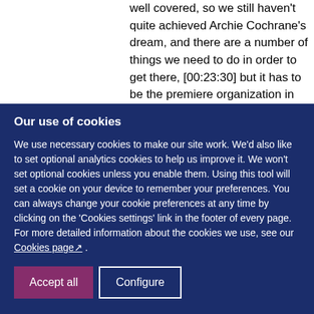well covered, so we still haven't quite achieved Archie Cochrane's dream, and there are a number of things we need to do in order to get there, [00:23:30] but it has to be the premiere organization in the world that is trying to do exactly what Archie Cochrane's dream suggested.
Our use of cookies
We use necessary cookies to make our site work. We'd also like to set optional analytics cookies to help us improve it. We won't set optional cookies unless you enable them. Using this tool will set a cookie on your device to remember your preferences. You can always change your cookie preferences at any time by clicking on the 'Cookies settings' link in the footer of every page. For more detailed information about the cookies we use, see our Cookies page .